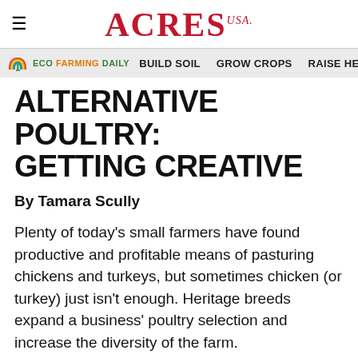ACRES USA
ECO FARMING DAILY  BUILD SOIL  GROW CROPS  RAISE HEA
ALTERNATIVE POULTRY: GETTING CREATIVE
By Tamara Scully
Plenty of today's small farmers have found productive and profitable means of pasturing chickens and turkeys, but sometimes chicken (or turkey) just isn't enough. Heritage breeds expand a business' poultry selection and increase the diversity of the farm.